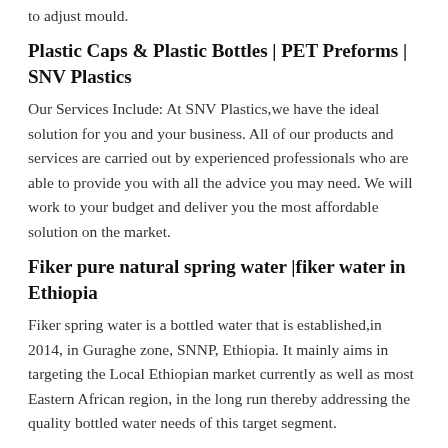to adjust mould.
Plastic Caps & Plastic Bottles | PET Preforms | SNV Plastics
Our Services Include: At SNV Plastics,we have the ideal solution for you and your business. All of our products and services are carried out by experienced professionals who are able to provide you with all the advice you may need. We will work to your budget and deliver you the most affordable solution on the market.
Fiker pure natural spring water |fiker water in Ethiopia
Fiker spring water is a bottled water that is established,in 2014, in Guraghe zone, SNNP, Ethiopia. It mainly aims in targeting the Local Ethiopian market currently as well as most Eastern African region, in the long run thereby addressing the quality bottled water needs of this target segment.